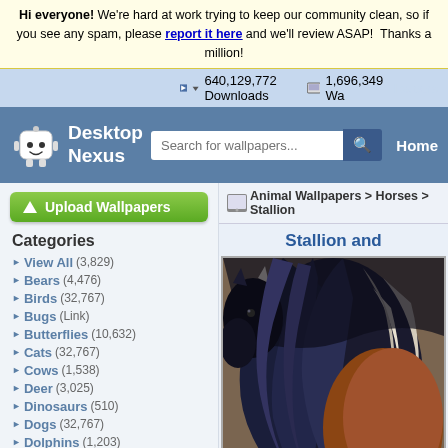Hi everyone! We're hard at work trying to keep our community clean, so if you see any spam, please report it here and we'll review ASAP! Thanks a million!
640,129,772 Downloads   1,696,349 Wallpapers
[Figure (screenshot): Desktop Nexus website header with logo, search bar, and Home link]
[Figure (photo): Close-up photo of horses with dark flowing manes]
Animal Wallpapers > Horses > Stallion
Stallion and...
Upload Wallpapers
Categories
View All (3,829)
Bears (4,476)
Birds (32,767)
Bugs (Link)
Butterflies (10,632)
Cats (32,767)
Cows (1,538)
Deer (3,025)
Dinosaurs (510)
Dogs (32,767)
Dolphins (1,203)
Ducks (1,526)
Elephants (1,302)
Fish (3,162)
Frogs (5,708)